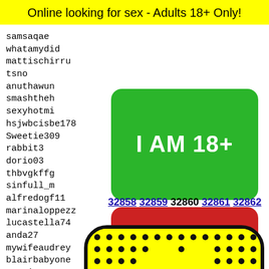Online looking for sex - Adults 18+ Only!
samsaqae
whatamydid
mattischirru
tsno
anuthawun
smashtheh
sexyhotmi
hsjwbcisbe178
Sweetie309
rabbit3
dorio03
thbvgkffg
sinfull_m
alfredogf11
marinaloppezz
lucastella74
anda27
mywifeaudrey
blairbabyone
martinees22
rebsma
salapt
monell
luna02
zigzag
valeri
[Figure (other): Green button with text I AM 18+]
[Figure (other): Red button with text EXIT]
32858 32859 32860 32861 32862
[Figure (illustration): Yellow rounded square with black dot pattern grid and partial face emoji illustration at bottom]